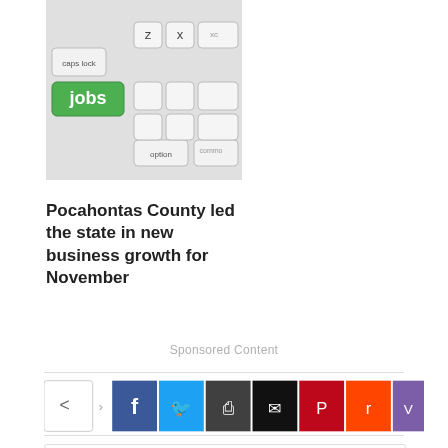[Figure (photo): A keyboard with a green 'jobs' key highlighted, other keys visible including z, x, caps lock, option, command]
Pocahontas County led the state in new business growth for November
Sponsored Content
[Figure (infographic): Social media share bar with icons for Facebook, Twitter, Print, Email, Pinterest, Reddit, and Viber]
[Figure (photo): Author photo showing a man in glasses and suit, partially visible at bottom of page]